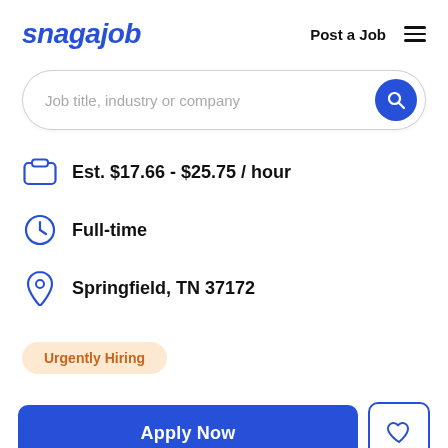snagajob | Post a Job
[Figure (screenshot): Search bar with placeholder text 'Job title, industry or company' and a blue circular search button]
Est. $17.66 - $25.75 / hour
Full-time
Springfield, TN 37172
Urgently Hiring
Apply Now